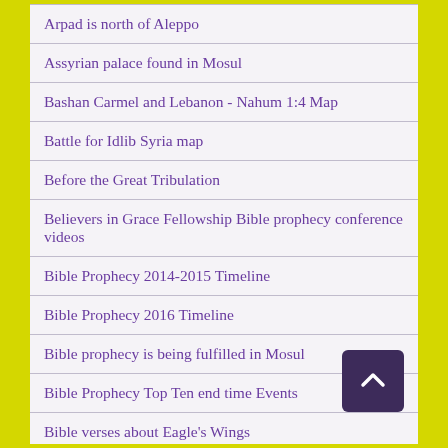Arpad is north of Aleppo
Assyrian palace found in Mosul
Bashan Carmel and Lebanon - Nahum 1:4 Map
Battle for Idlib Syria map
Before the Great Tribulation
Believers in Grace Fellowship Bible prophecy conference videos
Bible Prophecy 2014-2015 Timeline
Bible Prophecy 2016 Timeline
Bible prophecy is being fulfilled in Mosul
Bible Prophecy Top Ten end time Events
Bible verses about Eagle's Wings
BIG Map of Bible Prophecy